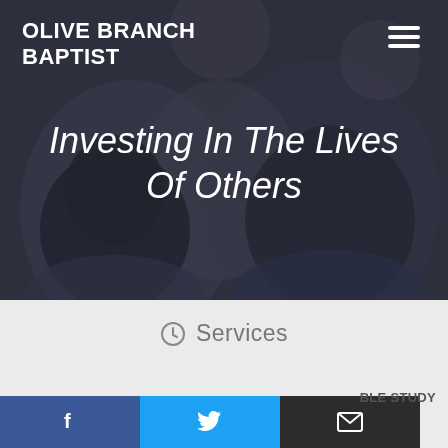OLIVE BRANCH BAPTIST
[Figure (photo): Background photo of people from behind, blurred, with dark overlay. A church group scene.]
Investing In The Lives Of Others
Services
SUNDAY - 9:30AM SUNDAY SCHOOL, 10:30AM WORSHIP
BLE STUDY
[Figure (infographic): Social media share bar with Facebook, Twitter, and Email buttons at bottom of page]